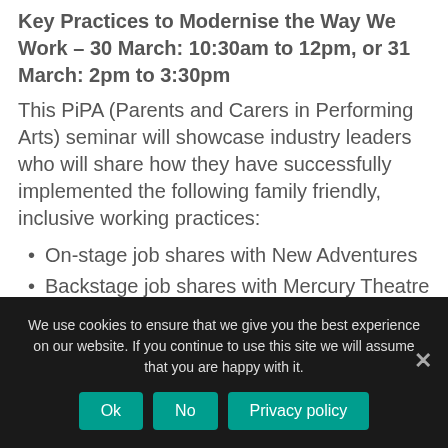Key Practices to Modernise the Way We Work – 30 March: 10:30am to 12pm, or 31 March: 2pm to 3:30pm
This PiPA (Parents and Carers in Performing Arts) seminar will showcase industry leaders who will share how they have successfully implemented the following family friendly, inclusive working practices:
On-stage job shares with New Adventures
Backstage job shares with Mercury Theatre
We use cookies to ensure that we give you the best experience on our website. If you continue to use this site we will assume that you are happy with it.